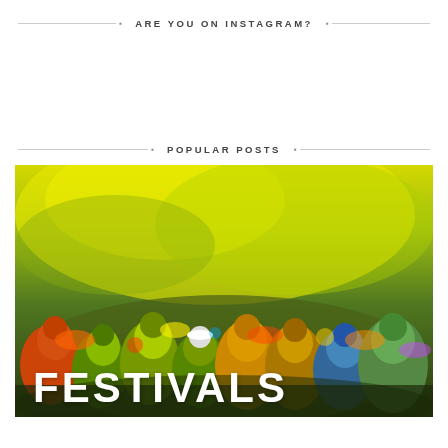ARE YOU ON INSTAGRAM?
POPULAR POSTS
[Figure (photo): Holi festival celebration with people covered in colorful powder, large yellow-green powder cloud in background, text overlay reading FESTIVALS]
FESTIVALS